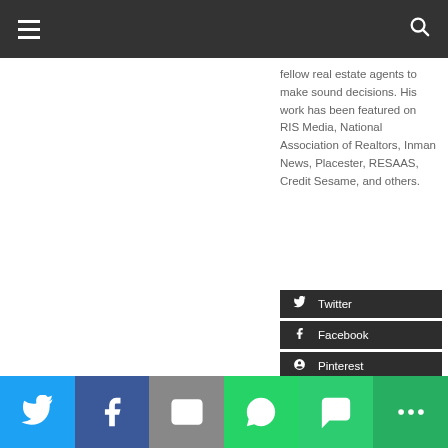Navigation header bar with hamburger menu and search icon
fellow real estate agents to make sound decisions. His work has been featured on RIS Media, National Association of Realtors, Inman News, Placester, RESAAS, Credit Sesame, and others.
Twitter
Facebook
Pinterest
Tumblr
Flickr
Linkedin
Email
Social sharing bar: Twitter, Facebook, Email, WhatsApp, SMS, More